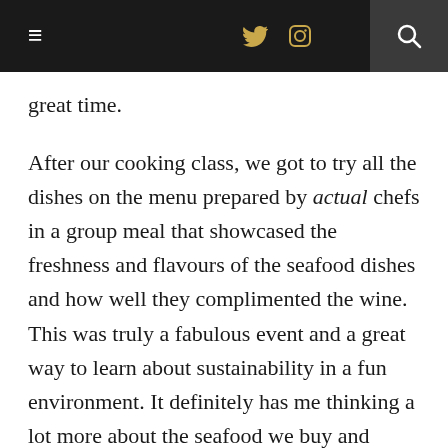≡  🐦  📷  🔍
great time.
After our cooking class, we got to try all the dishes on the menu prepared by actual chefs in a group meal that showcased the freshness and flavours of the seafood dishes and how well they complimented the wine. This was truly a fabulous event and a great way to learn about sustainability in a fun environment. It definitely has me thinking a lot more about the seafood we buy and consume.
There are some great videos of the event available (and, yes, you can see me